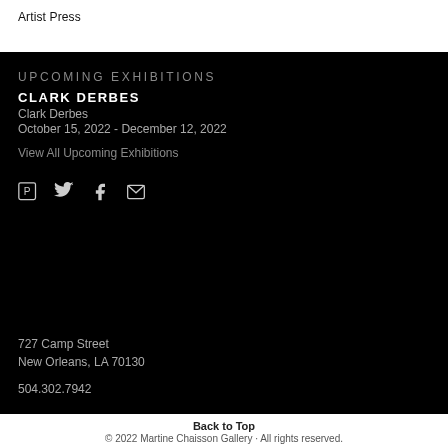Artist Press
UPCOMING EXHIBITIONS
CLARK DERBES
Clark Derbes
October 15, 2022 - December 12, 2022
View All Upcoming Exhibitions
[Figure (other): Social media icons: Pinterest, Twitter, Facebook, Email]
727 Camp Street
New Orleans, LA 70130
504.302.7942
Back to Top
© 2022 Martine Chaisson Gallery · All rights reserved.